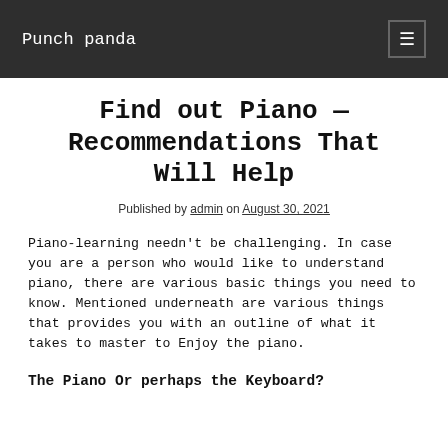Punch panda
Find out Piano — Recommendations That Will Help
Published by admin on August 30, 2021
Piano-learning needn't be challenging. In case you are a person who would like to understand piano, there are various basic things you need to know. Mentioned underneath are various things that provides you with an outline of what it takes to master to Enjoy the piano.
The Piano Or perhaps the Keyboard?